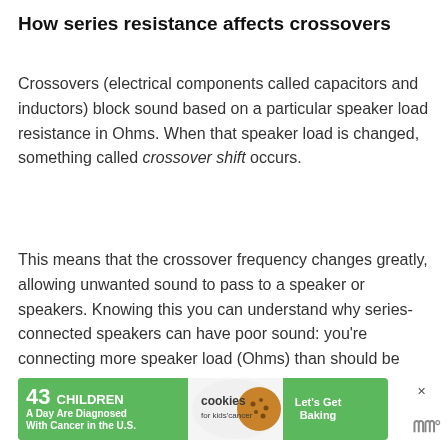How series resistance affects crossovers
Crossovers (electrical components called capacitors and inductors) block sound based on a particular speaker load resistance in Ohms. When that speaker load is changed, something called crossover shift occurs.
This means that the crossover frequency changes greatly, allowing unwanted sound to pass to a speaker or speakers. Knowing this you can understand why series-connected speakers can have poor sound: you're connecting more speaker load (Ohms) than should be used.
[Figure (infographic): Advertisement banner: '43 CHILDREN A Day Are Diagnosed With Cancer in the U.S.' with cookies for kids' cancer logo and 'Let's Get Baking' call to action on green background.]